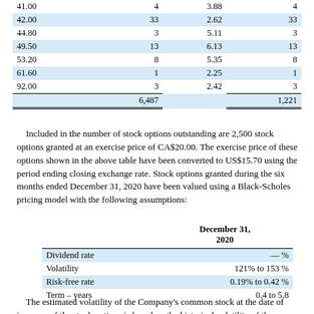|  |  |  |  |
| --- | --- | --- | --- |
| 41.00 | 4 | 3.88 | 4 |
| 42.00 | 33 | 2.62 | 33 |
| 44.80 | 3 | 5.11 | 3 |
| 49.50 | 13 | 6.13 | 13 |
| 53.20 | 8 | 5.35 | 8 |
| 61.60 | 1 | 2.25 | 1 |
| 92.00 | 3 | 2.42 | 3 |
|  | 6,487 |  | 1,221 |
Included in the number of stock options outstanding are 2,500 stock options granted at an exercise price of CA$20.00. The exercise price of these options shown in the above table have been converted to US$15.70 using the period ending closing exchange rate. Stock options granted during the six months ended December 31, 2020 have been valued using a Black-Scholes pricing model with the following assumptions:
|  | December 31, 2020 |
| --- | --- |
| Dividend rate | — % |
| Volatility | 121% to 153 % |
| Risk-free rate | 0.19% to 0.42 % |
| Term – years | 0.4 to 5.8 |
The estimated volatility of the Company's common stock at the date of issuance of the stock options is based on the historical volatility of the Company. The risk-free interest rate is based on rates published by the government for bonds with a maturity similar to the expected remaining life of the stock options at the valuation date. The expected life of the stock options has been estimated